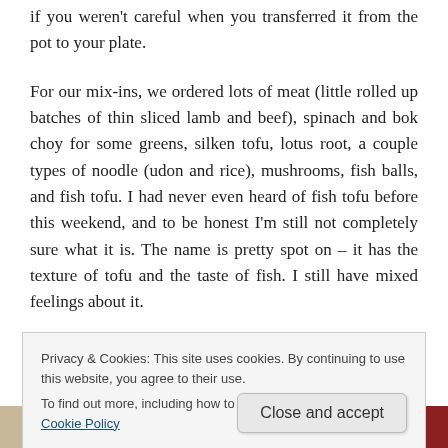if you weren't careful when you transferred it from the pot to your plate.
For our mix-ins, we ordered lots of meat (little rolled up batches of thin sliced lamb and beef), spinach and bok choy for some greens, silken tofu, lotus root, a couple types of noodle (udon and rice), mushrooms, fish balls, and fish tofu. I had never even heard of fish tofu before this weekend, and to be honest I'm still not completely sure what it is. The name is pretty spot on – it has the texture of tofu and the taste of fish. I still have mixed feelings about it.
Privacy & Cookies: This site uses cookies. By continuing to use this website, you agree to their use.
To find out more, including how to control cookies, see here: Cookie Policy
[Figure (photo): Two food photos side by side at the bottom of the page, partially visible.]